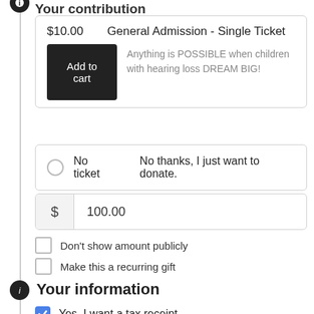Your contribution
$10.00   General Admission - Single Ticket
Anything is POSSIBLE when children with hearing loss DREAM BIG!
No ticket   No thanks, I just want to donate.
$ 100.00
Don't show amount publicly
Make this a recurring gift
Your information
Yes, I want a tax receipt
✓ From Individual   From Organization